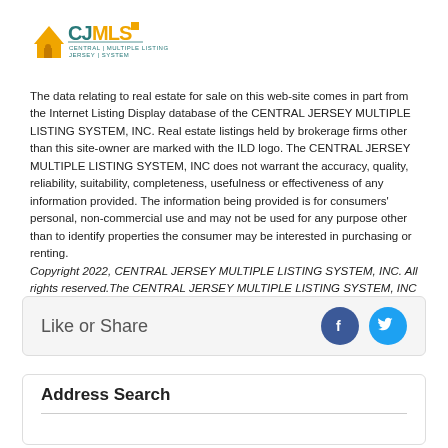[Figure (logo): CJMLS Central Jersey Multiple Listing System logo with house icon in orange/yellow and teal text]
The data relating to real estate for sale on this web-site comes in part from the Internet Listing Display database of the CENTRAL JERSEY MULTIPLE LISTING SYSTEM, INC. Real estate listings held by brokerage firms other than this site-owner are marked with the ILD logo. The CENTRAL JERSEY MULTIPLE LISTING SYSTEM, INC does not warrant the accuracy, quality, reliability, suitability, completeness, usefulness or effectiveness of any information provided. The information being provided is for consumers' personal, non-commercial use and may not be used for any purpose other than to identify properties the consumer may be interested in purchasing or renting. Copyright 2022, CENTRAL JERSEY MULTIPLE LISTING SYSTEM, INC. All rights reserved.The CENTRAL JERSEY MULTIPLE LISTING SYSTEM, INC retains all rights, title and interest in and to its trademarks, service marks and copyrighted material.
Like or Share
Address Search